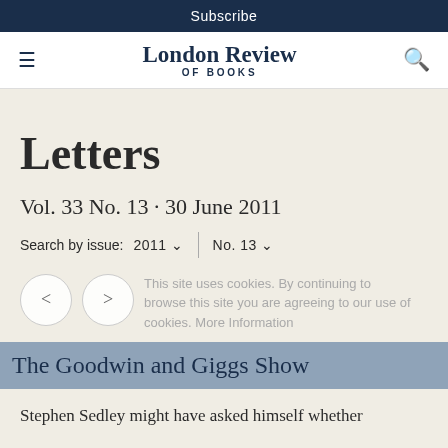Subscribe
London Review of Books
Letters
Vol. 33 No. 13 · 30 June 2011
Search by issue: 2011 ∨  No. 13 ∨
This site uses cookies. By continuing to browse this site you are agreeing to our use of cookies. More Information
The Goodwin and Giggs Show
Stephen Sedley might have asked himself whether